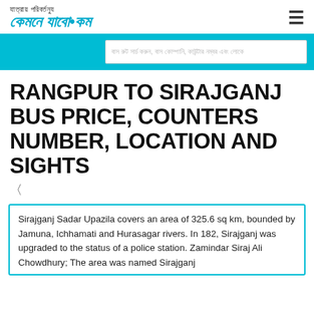যাত্রায় পরিবর্তন কেমনে যাবো.কম
RANGPUR TO SIRAJGANJ BUS PRICE, COUNTERS NUMBER, LOCATION AND SIGHTS
Sirajganj Sadar Upazila covers an area of 325.6 sq km, bounded by Jamuna, Ichhamati and Hurasagar rivers. In 182, Sirajganj was upgraded to the status of a police station. Zamindar Siraj Ali Chowdhury; The area was named Sirajganj